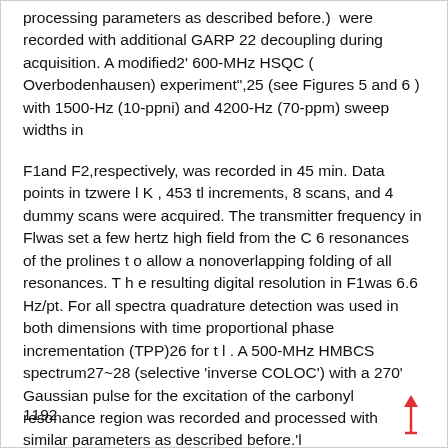processing parameters as described before.) were recorded with additional GARP 22 decoupling during acquisition. A modified2' 600-MHz HSQC (Overbodenhausen) experiment",25 (see Figures 5 and 6 ) with 1500-Hz (10-ppni) and 4200-Hz (70-ppm) sweep widths in
F1and F2,respectively, was recorded in 45 min. Data points in tzwere l K , 453 tl increments, 8 scans, and 4 dummy scans were acquired. The transmitter frequency in Flwas set a few hertz high field from the C 6 resonances of the prolines t o allow a nonoverlapping folding of all resonances. T h e resulting digital resolution in F1was 6.6 Hz/pt. For all spectra quadrature detection was used in both dimensions with time proportional phase incrementation (TPP)26 for t l . A 500-MHz HMBCS spectrum27~28 (selective 'inverse COLOC') with a 270' Gaussian pulse for the excitation of the carbonyl resonance region was recorded and processed with similar parameters as described before.'l
1192